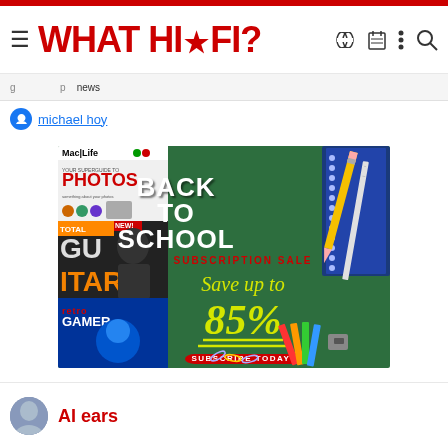WHAT HI·FI?
michael hoy
[Figure (infographic): Back to School Subscription Sale advertisement. Shows multiple magazine covers (Mac Life, Guitar, Retro Gamer) on the left side against a green chalkboard background. Text reads: BACK TO SCHOOL SUBSCRIPTION SALE Save up to 85% SUBSCRIBE TODAY!]
AI ears